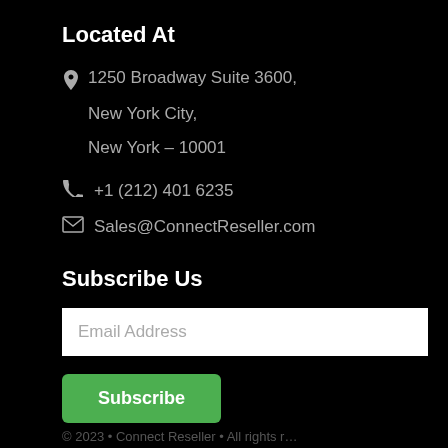Located At
1250 Broadway Suite 3600,
New York City,
New York – 10001
+1 (212) 401 6235
Sales@ConnectReseller.com
Subscribe Us
Email Address
Subscribe
© 2023 • Connect Reseller • All rights r…